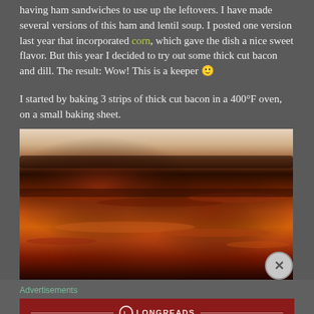having ham sandwiches to use up the leftovers. I have made several versions of this ham and lentil soup. I posted one version last year that incorporated corn, which gave the dish a nice sweet flavor. But this year I decided to try out some thick cut bacon and dill. The result: Wow! This is a keeper 🙂
I started by baking 3 strips of thick cut bacon in a 400°F oven, on a small baking sheet.
[Figure (photo): Close-up photograph of thick-cut bacon strips, showing rich dark brown and reddish-orange coloring with crispy texture, on a white baking sheet background.]
Advertisements
[Figure (other): Longreads advertisement banner with dark red background. Shows the Longreads logo (circle with L) and the text: The best stories on the web — ours, and everyone else's.]